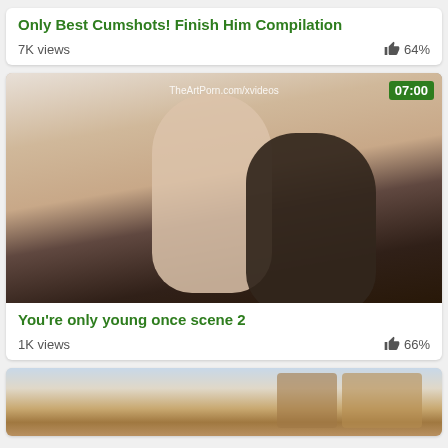Only Best Cumshots! Finish Him Compilation
7K views   64%
[Figure (photo): Video thumbnail showing two people in an intimate embrace, blonde woman and man in dark jacket. Watermark: TheArtPorn.com/xvideos. Duration badge: 07:00]
You're only young once scene 2
1K views   66%
[Figure (photo): Partial video thumbnail showing adult content, kitchen background visible]